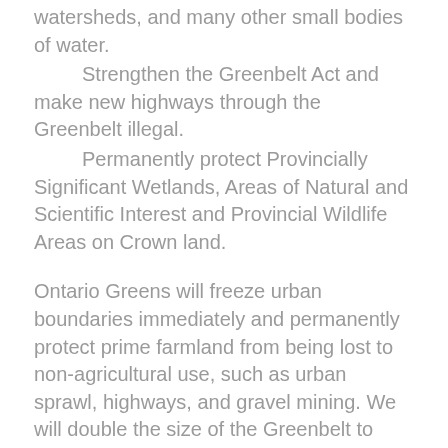watersheds, and many other small bodies of water.
Strengthen the Greenbelt Act and make new highways through the Greenbelt illegal.
Permanently protect Provincially Significant Wetlands, Areas of Natural and Scientific Interest and Provincial Wildlife Areas on Crown land.
Ontario Greens will freeze urban boundaries immediately and permanently protect prime farmland from being lost to non-agricultural use, such as urban sprawl, highways, and gravel mining. We will double the size of the Greenbelt to include a Bluebelt of protected moraines, river systems, and watersheds including the Oak Ridges Moraine.
Question 8